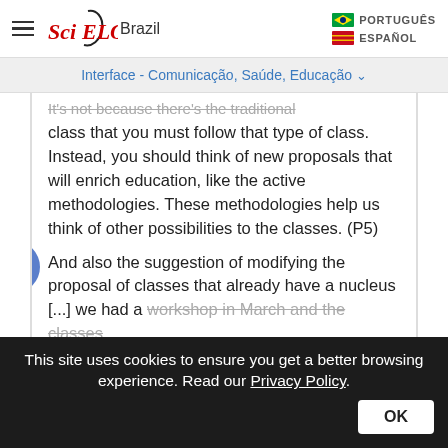SciELO Brazil — PORTUGUÊS / ESPAÑOL
Interface - Comunicação, Saúde, Educação
It's not because there's the traditional class that you must follow that type of class. Instead, you should think of new proposals that will enrich education, like the active methodologies. These methodologies help us think of other possibilities to the classes. (P5)
And also the suggestion of modifying the proposal of classes that already have a nucleus [...] we had a workshop in March and the classes...
This site uses cookies to ensure you get a better browsing experience. Read our Privacy Policy.